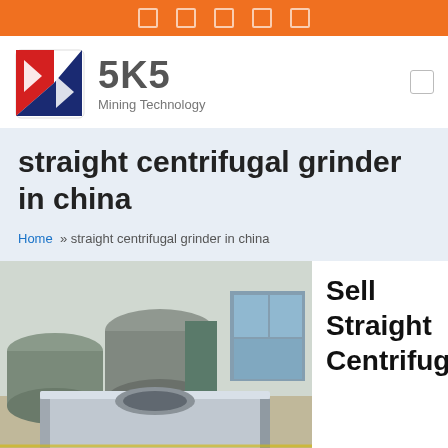[navigation icons]
[Figure (logo): SKS Mining Technology logo — red and blue chevron square icon with text 'SKS' and 'Mining Technology']
straight centrifugal grinder in china
Home » straight centrifugal grinder in china
[Figure (photo): Industrial factory floor photo showing large metallic cylindrical mill parts and a rectangular steel base component in the foreground]
Sell Straight Centrifuga